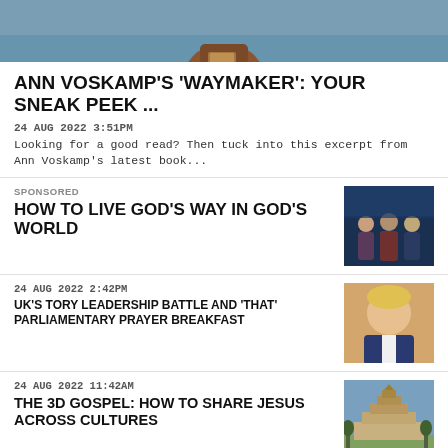[Figure (photo): Top portion of a person holding a book outdoors near water]
ANN VOSKAMP'S 'WAYMAKER': YOUR SNEAK PEEK ...
24 AUG 2022 3:51PM
Looking for a good read? Then tuck into this excerpt from Ann Voskamp's latest book...
SPONSORED
HOW TO LIVE GOD'S WAY IN GOD'S WORLD
[Figure (photo): Group of people standing together in a formal setting]
24 AUG 2022 2:42PM
UK'S TORY LEADERSHIP BATTLE AND 'THAT' PARLIAMENTARY PRAYER BREAKFAST
[Figure (photo): Blond man in a suit, appears to be Boris Johnson]
24 AUG 2022 11:42AM
THE 3D GOSPEL: HOW TO SHARE JESUS ACROSS CULTURES
[Figure (photo): Temple or ancient structure, Angkor Wat style]